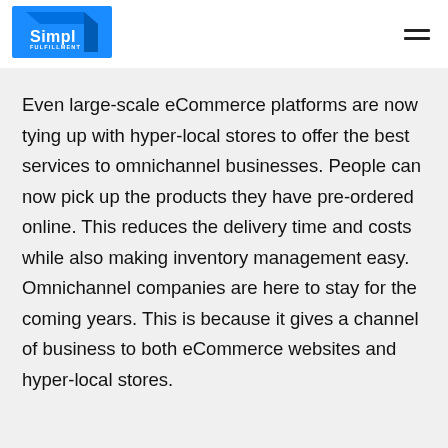Simpl Fulfillment
Even large-scale eCommerce platforms are now tying up with hyper-local stores to offer the best services to omnichannel businesses. People can now pick up the products they have pre-ordered online. This reduces the delivery time and costs while also making inventory management easy. Omnichannel companies are here to stay for the coming years. This is because it gives a channel of business to both eCommerce websites and hyper-local stores.